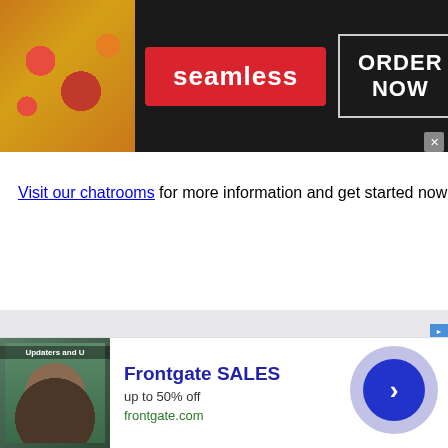[Figure (screenshot): Seamless food delivery advertisement banner with pizza image on left, red Seamless logo in center, and ORDER NOW button in white border box on dark background]
Visit our chatrooms for more information and get started now!
[Figure (screenshot): Frontgate SALES advertisement with outdoor furniture image, showing 'up to 50% off' and 'frontgate.com', with a circular blue arrow button and scroll-up cyan button]